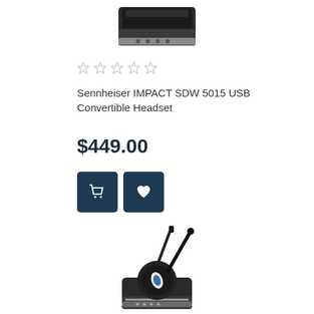[Figure (photo): Top portion of a Sennheiser wireless headset docking station, cropped at the top of the page]
★ ★ ★ ★ ★ (empty/grey stars rating)
Sennheiser IMPACT SDW 5015 USB Convertible Headset
$449.00
[Figure (illustration): Add to cart button icon (shopping cart) and wishlist button icon (heart), both on dark blue square buttons]
[Figure (photo): Sennheiser wireless headset with microphone boom arm on a charging dock/base station]